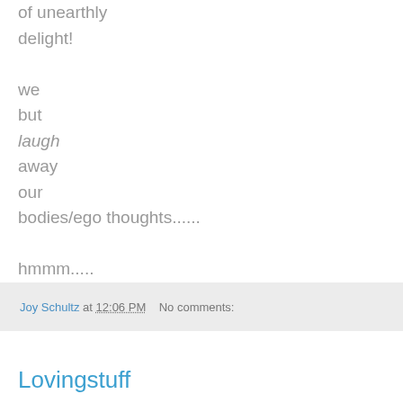of unearthly
delight!

we
but
laugh
away
our
bodies/ego thoughts......

hmmm.....
Joy Schultz at 12:06 PM   No comments:
Lovingstuff